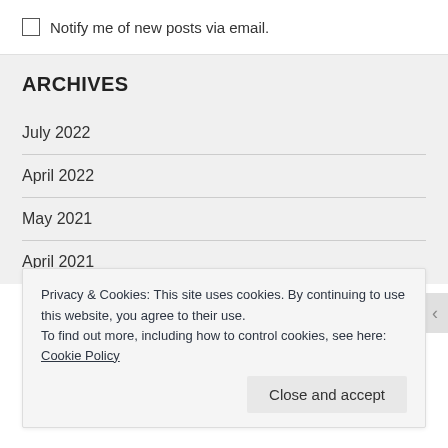Notify me of new posts via email.
ARCHIVES
July 2022
April 2022
May 2021
April 2021
Privacy & Cookies: This site uses cookies. By continuing to use this website, you agree to their use.
To find out more, including how to control cookies, see here: Cookie Policy
Close and accept